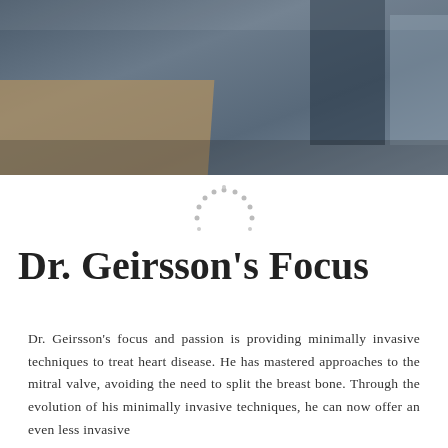[Figure (photo): A dark, muted photograph showing a medical or clinical setting with dark blue-gray tones, an amber/brown shape at bottom left, and darker equipment shapes at right.]
Dr. Geirsson’s Focus
Dr. Geirsson’s focus and passion is providing minimally invasive techniques to treat heart disease. He has mastered approaches to the mitral valve, avoiding the need to split the breast bone. Through the evolution of his minimally invasive techniques, he can now offer an even less invasive